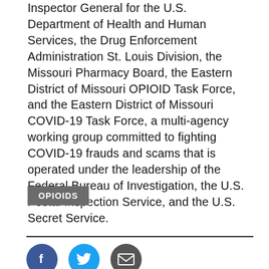Inspector General for the U.S. Department of Health and Human Services, the Drug Enforcement Administration St. Louis Division, the Missouri Pharmacy Board, the Eastern District of Missouri OPIOID Task Force, and the Eastern District of Missouri COVID-19 Task Force, a multi-agency working group committed to fighting COVID-19 frauds and scams that is operated under the leadership of the Federal Bureau of Investigation, the U.S. Postal Inspection Service, and the U.S. Secret Service.
OPIOIDS
[Figure (other): Social media sharing icons: Facebook (blue circle with f), Twitter (cyan circle with bird), Email (dark grey circle with envelope)]